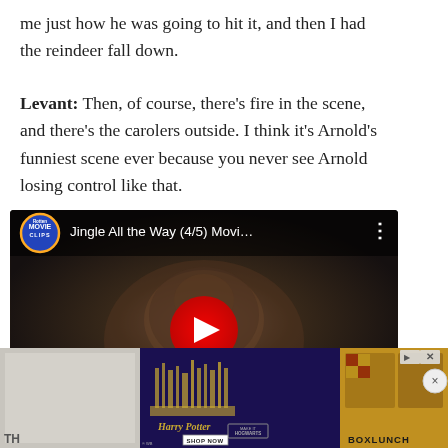me just how he was going to hit it, and then I had the reindeer fall down.
Levant: Then, of course, there's fire in the scene, and there's the carolers outside. I think it's Arnold's funniest scene ever because you never see Arnold losing control like that.
[Figure (screenshot): YouTube video embed showing 'Jingle All the Way (4/5) Movi...' from Rotten Tomatoes Movie Clips channel, with a reindeer thumbnail and play button]
[Figure (screenshot): Advertisement banner showing Harry Potter Hogwarts themed products and BoxLunch merchandise]